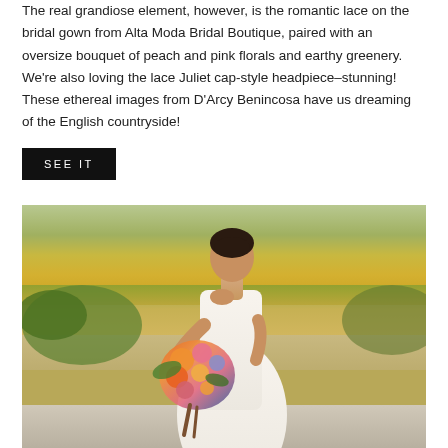The real grandiose element, however, is the romantic lace on the bridal gown from Alta Moda Bridal Boutique, paired with an oversize bouquet of peach and pink florals and earthy greenery. We're also loving the lace Juliet cap-style headpiece–stunning! These ethereal images from D'Arcy Benincosa have us dreaming of the English countryside!
SEE IT
[Figure (photo): A bride in a white lace wedding gown standing outdoors in a field, holding a large oversize bouquet of peach, orange, pink and blue florals with greenery. She is looking down and touching her neck. The background shows an open countryside field with green and golden hues under warm sunlight.]